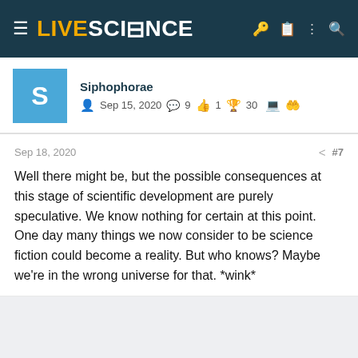LIVESCIENCE
Siphophorae
Sep 15, 2020  9  1  30
Sep 18, 2020  #7
Well there might be, but the possible consequences at this stage of scientific development are purely speculative. We know nothing for certain at this point. One day many things we now consider to be science fiction could become a reality. But who knows? Maybe we're in the wrong universe for that. *wink*